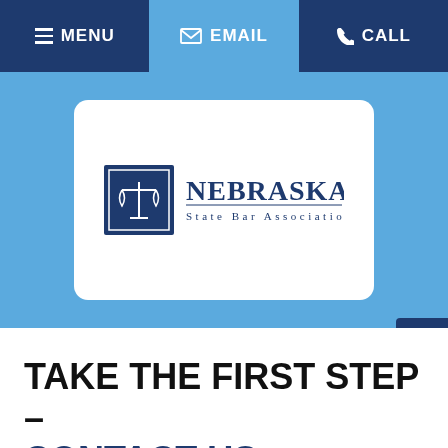MENU | EMAIL | CALL
[Figure (logo): Nebraska State Bar Association logo — scales of justice icon in blue square with text 'NEBRASKA State Bar Association']
TAKE THE FIRST STEP – CONTACT US
Fields marked with an * are required